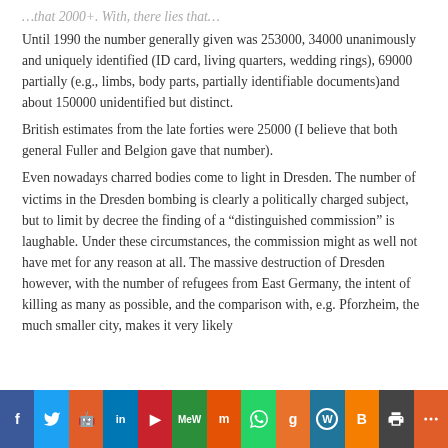Until 1990 the number generally given was 253000, 34000 unanimously and uniquely identified (ID card, living quarters, wedding rings), 69000 partially (e.g., limbs, body parts, partially identifiable documents)and about 150000 unidentified but distinct.
British estimates from the late forties were 25000 (I believe that both general Fuller and Belgion gave that number).
Even nowadays charred bodies come to light in Dresden. The number of victims in the Dresden bombing is clearly a politically charged subject, but to limit by decree the finding of a “distinguished commission” is laughable. Under these circumstances, the commission might as well not have met for any reason at all. The massive destruction of Dresden however, with the number of refugees from East Germany, the intent of killing as many as possible, and the comparison with, e.g. Pforzheim, the much smaller city, makes it very likely
Social share bar: Facebook, Twitter, Reddit, LinkedIn, Pinterest, MeWe, Mix, WhatsApp, Goodreads, WordPress, Blogger, Print, More